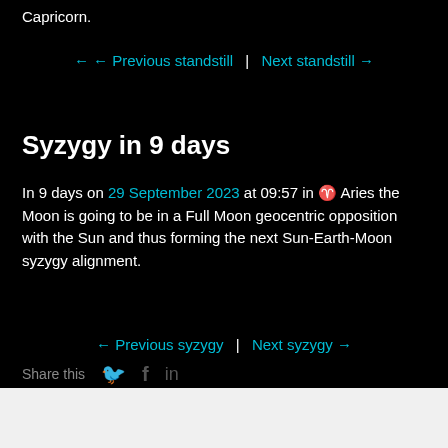Capricorn.
← Previous standstill  |  Next standstill →
Syzygy in 9 days
In 9 days on 29 September 2023 at 09:57 in ♈ Aries the Moon is going to be in a Full Moon geocentric opposition with the Sun and thus forming the next Sun-Earth-Moon syzygy alignment.
← Previous syzygy  |  Next syzygy →
Share this...